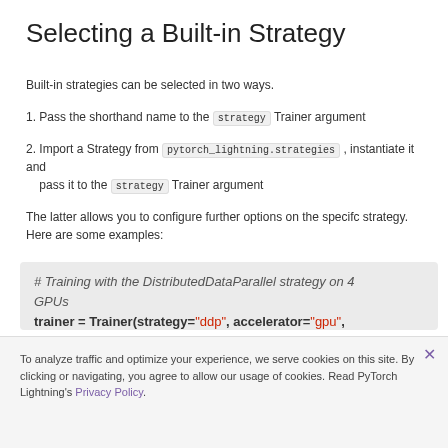Selecting a Built-in Strategy
Built-in strategies can be selected in two ways.
1. Pass the shorthand name to the strategy Trainer argument
2. Import a Strategy from pytorch_lightning.strategies , instantiate it and pass it to the strategy Trainer argument
The latter allows you to configure further options on the specifc strategy. Here are some examples:
[Figure (screenshot): Code block showing Python code for training with DistributedDataParallel strategy. First snippet: comment '# Training with the DistributedDataParallel strategy on 4 GPUs', then 'trainer = Trainer(strategy="ddp", accelerator="gpu", devices=4)'. Second snippet: comment '# Training with the DistributedDataParallel strategy on 4 GPUs, with options configured', then 'trainer =', then 'Trainer(strategy=DDPStrategy(find_unused_parameters=' (cut off)]
To analyze traffic and optimize your experience, we serve cookies on this site. By clicking or navigating, you agree to allow our usage of cookies. Read PyTorch Lightning's Privacy Policy.